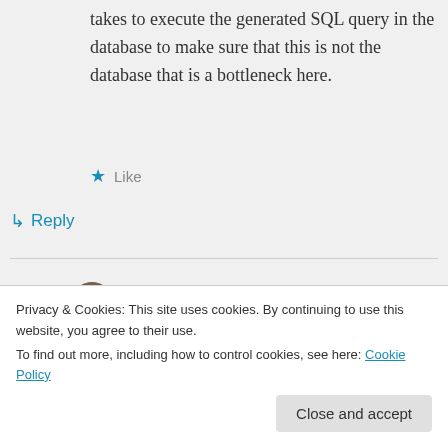takes to execute the generated SQL query in the database to make sure that this is not the database that is a bottleneck here.
★ Like
↪ Reply
Ocelot20 on July 27, 2012 at 7:57 am
moozzyk: I'm on the same project
Privacy & Cookies: This site uses cookies. By continuing to use this website, you agree to their use.
To find out more, including how to control cookies, see here: Cookie Policy
Close and accept
troubleshoot? Is there more to EF